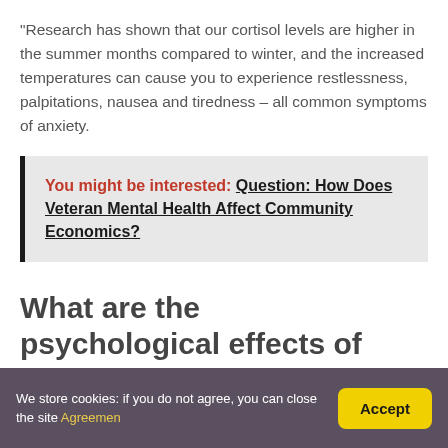“Research has shown that our cortisol levels are higher in the summer months compared to winter, and the increased temperatures can cause you to experience restlessness, palpitations, nausea and tiredness – all common symptoms of anxiety.
You might be interested: Question: How Does Veteran Mental Health Affect Community Economics?
What are the psychological effects of
We store cookies: if you do not agree, you can close the site Agreemen